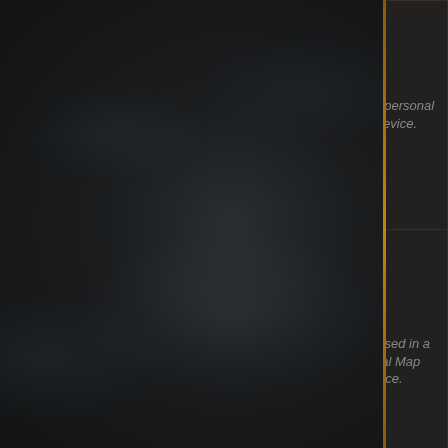[Figure (screenshot): Game UI table showing item entries with names in orange, item icons, level numbers (75), and descriptions in grey italic text 'Can be used in a personal Map Device.' Rows include: Timeless Templar Emblem, Timeless Vaal Emblem, Unrelenting Timeless Eternal Emblem, Unrelenting Timeless Karui Emblem. Dark stone/smoke background on left side with golden vertical border separating it from the table.]